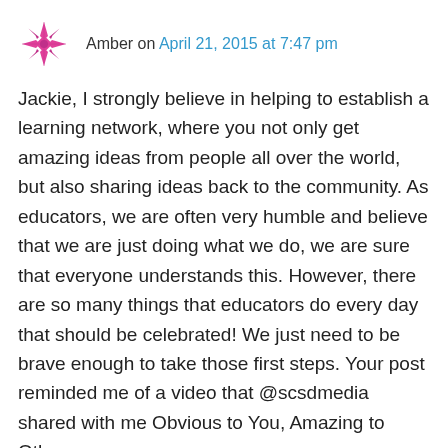[Figure (logo): Pink/magenta decorative snowflake or quilt-pattern avatar icon]
Amber on April 21, 2015 at 7:47 pm
Jackie, I strongly believe in helping to establish a learning network, where you not only get amazing ideas from people all over the world, but also sharing ideas back to the community. As educators, we are often very humble and believe that we are just doing what we do, we are sure that everyone understands this. However, there are so many things that educators do every day that should be celebrated! We just need to be brave enough to take those first steps. Your post reminded me of a video that @scsdmedia shared with me Obvious to You, Amazing to Others https://www.youtube.com/watch?